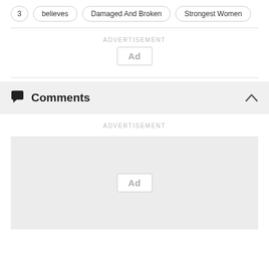3
believes
Damaged And Broken
Strongest Women
ADVERTISEMENT
[Figure (other): Ad placeholder box with text 'Ad']
Comments
ADVERTISEMENT
[Figure (other): Large ad placeholder box with text 'Ad']